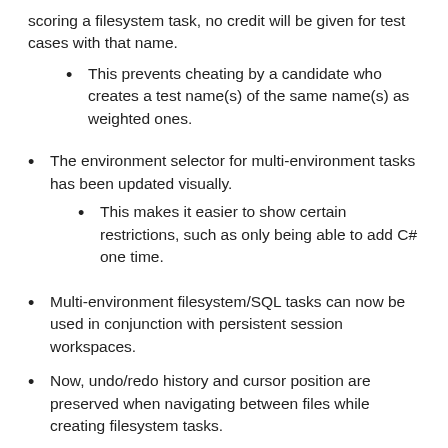scoring a filesystem task, no credit will be given for test cases with that name.
This prevents cheating by a candidate who creates a test name(s) of the same name(s) as weighted ones.
The environment selector for multi-environment tasks has been updated visually.
This makes it easier to show certain restrictions, such as only being able to add C# one time.
Multi-environment filesystem/SQL tasks can now be used in conjunction with persistent session workspaces.
Now, undo/redo history and cursor position are preserved when navigating between files while creating filesystem tasks.